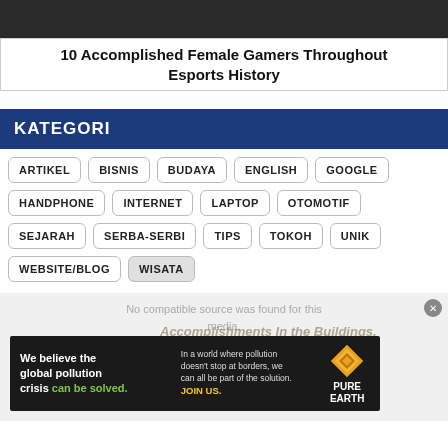[Figure (photo): Dark top image area, screenshot of a webpage header]
10 Accomplished Female Gamers Throughout Esports History
KATEGORI
ARTIKEL
BISNIS
BUDAYA
ENGLISH
GOOGLE
HANDPHONE
INTERNET
LAPTOP
OTOMOTIF
SEJARAH
SERBA-SERBI
TIPS
TOKOH
UNIK
WEBSITE/BLOG
WISATA
[Figure (screenshot): Advertisement banner for Pure Earth: We believe the global pollution crisis can be solved. In a world where pollution doesn't stop at borders, we can all be part of the solution. JOIN US.]